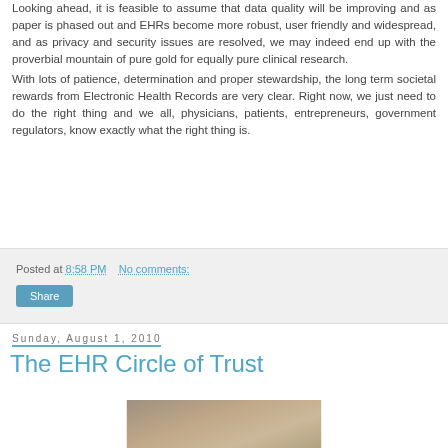Looking ahead, it is feasible to assume that data quality will be improving and as paper is phased out and EHRs become more robust, user friendly and widespread, and as privacy and security issues are resolved, we may indeed end up with the proverbial mountain of pure gold for equally pure clinical research.
With lots of patience, determination and proper stewardship, the long term societal rewards from Electronic Health Records are very clear. Right now, we just need to do the right thing and we all, physicians, patients, entrepreneurs, government regulators, know exactly what the right thing is.
Posted at 8:58 PM    No comments:
Share
Sunday, August 1, 2010
The EHR Circle of Trust
[Figure (photo): A photo of a person, partially visible at the bottom of the page]